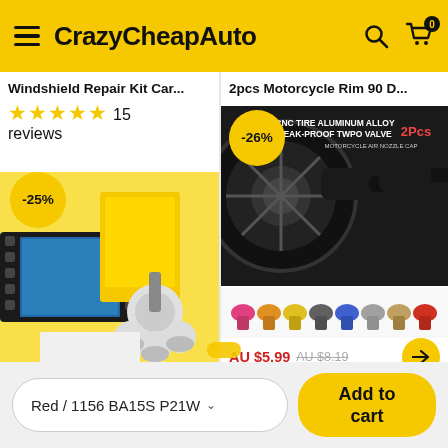CrazyCheapAuto
Windshield Repair Kit Car...
★★★★★ 15 reviews
[Figure (photo): Windshield repair kit product image with -25% discount badge]
2pcs Motorcycle Rim 90 D...
[Figure (photo): 2pcs motorcycle CNC tire aluminum alloy leak-proof TWPO valve air nozzle cap product image with -26% discount badge, showing multiple color options]
AU $5.99  AU $8.19
Red / 1156 BA15S P21W
Add to cart